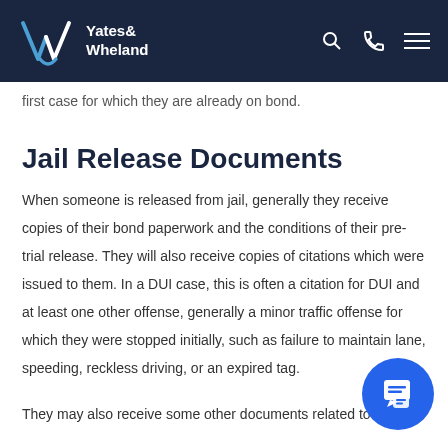Yates & Wheland
first case for which they are already on bond.
Jail Release Documents
When someone is released from jail, generally they receive copies of their bond paperwork and the conditions of their pre-trial release. They will also receive copies of citations which were issued to them. In a DUI case, this is often a citation for DUI and at least one other offense, generally a minor traffic offense for which they were stopped initially, such as failure to maintain lane, speeding, reckless driving, or an expired tag.
They may also receive some other documents related to